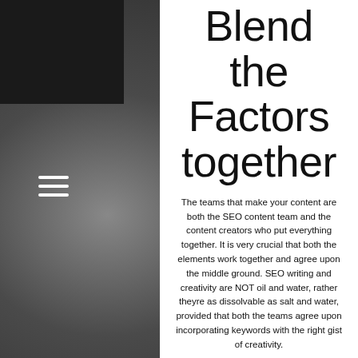Blend the Factors together
The teams that make your content are both the SEO content team and the content creators who put everything together. It is very crucial that both the elements work together and agree upon the middle ground. SEO writing and creativity are NOT oil and water, rather theyre as dissolvable as salt and water, provided that both the teams agree upon incorporating keywords with the right gist of creativity.